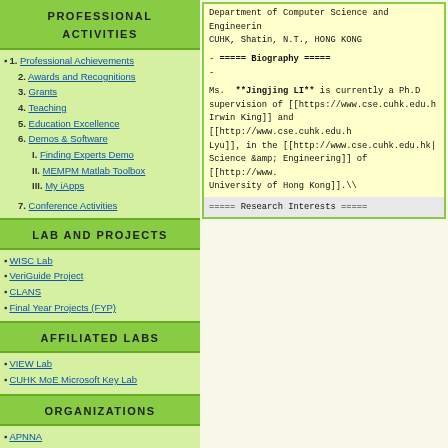PROFESSIONAL ACTIVITIES
1. Professional Achievements
2. Awards and Recognitions
3. Grants
4. Teaching
5. Education Excellence
6. Demos & Software
I. Finding Experts Demo
II. MEMPM Matlab Toolbox
III. My iApps
7. Conference Activities
LAB AND PROJECTS
WISC Lab
VeriGuide Project
CLANS
Final Year Projects (FYP)
AFFILIATED LABS
VIEW Lab
CUHK MoE Microsoft Key Lab
ORGANIZATIONS
APNNA
Caltech Alumni Assoc. HK
IEEE CIS
Department of Computer Science and Engineering
CUHK, Shatin, N.T., HONG KONG
- ===== Biography =====
-
Ms. **Jingjing LI** is currently a Ph.D supervision of [[https://www.cse.cuhk.edu.h Irwin King]] and [[http://www.cse.cuhk.edu.h Lyu]], in the [[http://www.cse.cuhk.edu.hk Science &amp; Engineering]] of [[http://www. University of Hong Kong]].\\
===== Research Interests =====